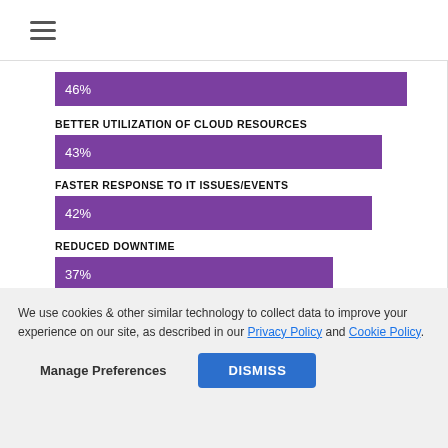☰
[Figure (bar-chart): ]
We use cookies & other similar technology to collect data to improve your experience on our site, as described in our Privacy Policy and Cookie Policy.
Manage Preferences   DISMISS